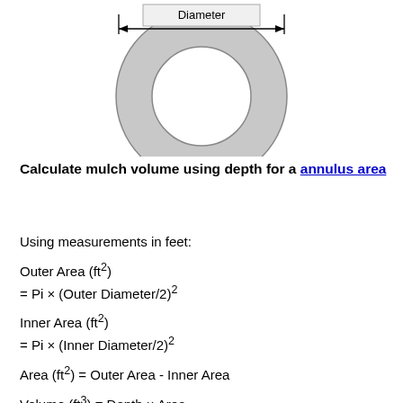[Figure (engineering-diagram): Annulus (ring) shape shown from above with a 'Diameter' label and double-headed arrow spanning the outer diameter. The ring has a gray filled annular region with white center hole.]
Calculate mulch volume using depth for a annulus area
Using measurements in feet: